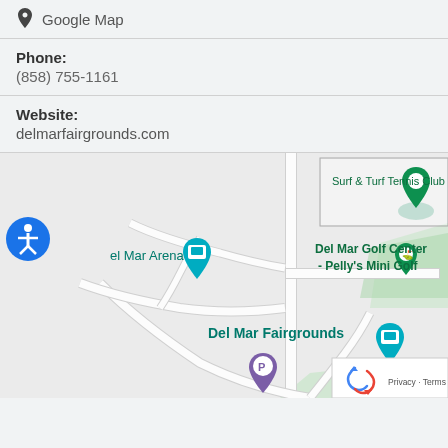Google Map
Phone:
(858) 755-1161
Website:
delmarfairgrounds.com
[Figure (map): Google Map showing Del Mar Fairgrounds area with markers for Del Mar Arena, Del Mar Golf Center - Pelly's Mini Golf, Surf & Turf Tennis Club, Del Mar Fairgrounds, West coast citrus feed, and a parking marker. Streets visible include Rrante Blvd.]